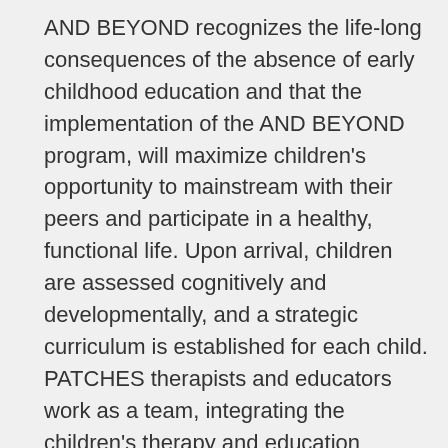AND BEYOND recognizes the life-long consequences of the absence of early childhood education and that the implementation of the AND BEYOND program, will maximize children's opportunity to mainstream with their peers and participate in a healthy, functional life. Upon arrival, children are assessed cognitively and developmentally, and a strategic curriculum is established for each child. PATCHES therapists and educators work as a team, integrating the children's therapy and education schedules, reclaiming valuable educational time for the child. Lifetime illness and social isolation from long hospital stays impact learning receptiveness for these children. Immersed in a stimulating, culturally sensitive environment, with love and care, the AND BEYOND educators steadily shift the children's mindsets to become receptive to learning. The program uses individualized learning techniques and cutting-edge